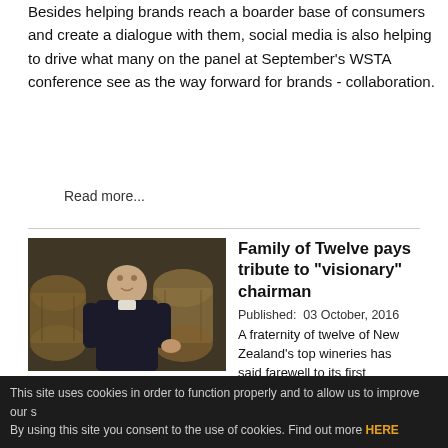Besides helping brands reach a boarder base of consumers and create a dialogue with them, social media is also helping to drive what many on the panel at September's WSTA conference see as the way forward for brands - collaboration.
Read more...
[Figure (photo): A man in a dark sweater standing in a winery next to oak barrels]
Family of Twelve pays tribute to "visionary" chairman
Published:  03 October, 2016
A fraternity of twelve of New Zealand's top wineries has said farewell to its first chairman.
Read more...
This site uses cookies in order to function properly and to allow us to improve our s By using this site you consent to the use of cookies. Find out more HERE